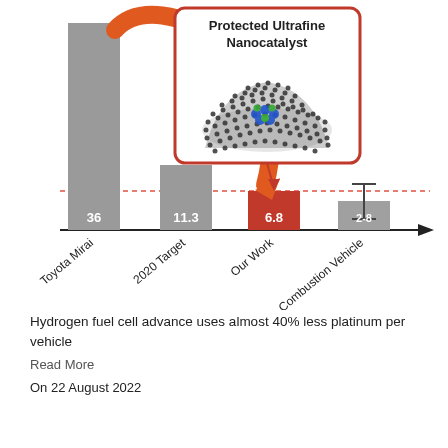[Figure (bar-chart): Platinum usage comparison]
Hydrogen fuel cell advance uses almost 40% less platinum per vehicle
Read More
On 22 August 2022